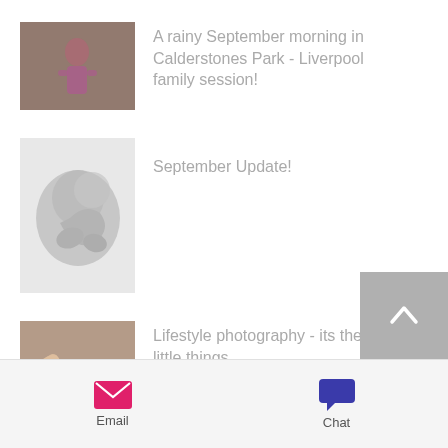A rainy September morning in Calderstones Park - Liverpool family session!
September Update!
Lifestyle photography - its the little things...